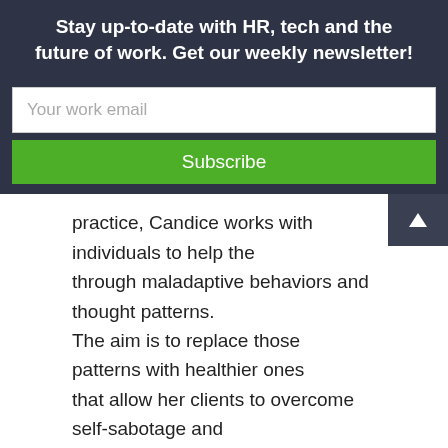Stay up-to-date with HR, tech and the future of work. Get our weekly newsletter!
Your work email
Subscribe
practice, Candice works with individuals to help the through maladaptive behaviors and thought patterns. The aim is to replace those patterns with healthier ones that allow her clients to overcome self-sabotage and see success in their personal and work lives.
Because self-sabotage is so prevalent in the working world, I wanted to get Candice’s professional opinion on why we do it. Why would we voluntarily engage in behaviors that hurt us?
“Where to begin? Fear, comfort, self-doubt, anxiety, just poor self-esteem. I mean, there are many reasons